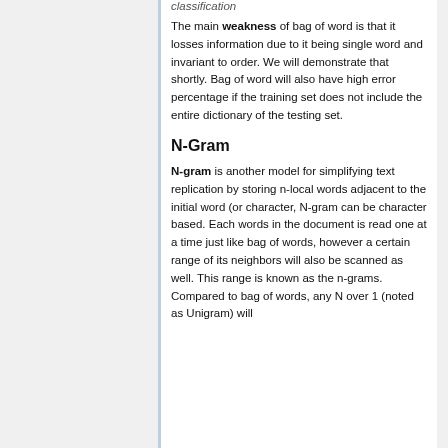classification
The main weakness of bag of word is that it losses information due to it being single word and invariant to order. We will demonstrate that shortly. Bag of word will also have high error percentage if the training set does not include the entire dictionary of the testing set.
N-Gram
N-gram is another model for simplifying text replication by storing n-local words adjacent to the initial word (or character, N-gram can be character based. Each words in the document is read one at a time just like bag of words, however a certain range of its neighbors will also be scanned as well. This range is known as the n-grams. Compared to bag of words, any N over 1 (noted as Unigram) will